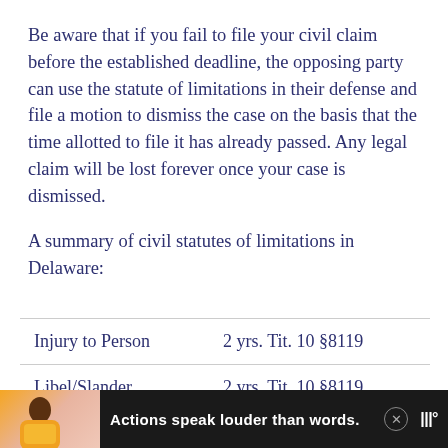Be aware that if you fail to file your civil claim before the established deadline, the opposing party can use the statute of limitations in their defense and file a motion to dismiss the case on the basis that the time allotted to file it has already passed. Any legal claim will be lost forever once your case is dismissed.
A summary of civil statutes of limitations in Delaware:
| Injury to Person | 2 yrs. Tit. 10 §8119 |
| Libel/Slander | 2 yrs. Tit. 10 §8119 |
[Figure (other): Advertisement banner at bottom: dark background with image of person, text 'Actions speak louder than words.' in white, close button, and logo marks]